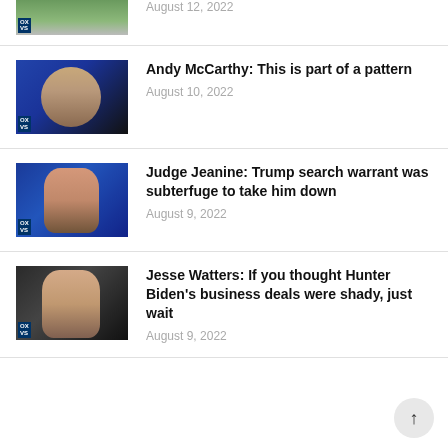[Figure (photo): Aerial/exterior photo thumbnail with Fox News badge, partially cropped at top]
August 12, 2022
[Figure (photo): Andy McCarthy on Fox News set, blue background with Fox News badge]
Andy McCarthy: This is part of a pattern
August 10, 2022
[Figure (photo): Judge Jeanine on Fox News set, blue background with Fox News badge]
Judge Jeanine: Trump search warrant was subterfuge to take him down
August 9, 2022
[Figure (photo): Jesse Watters on Fox News set, dark background with Fox News badge]
Jesse Watters: If you thought Hunter Biden's business deals were shady, just wait
August 9, 2022